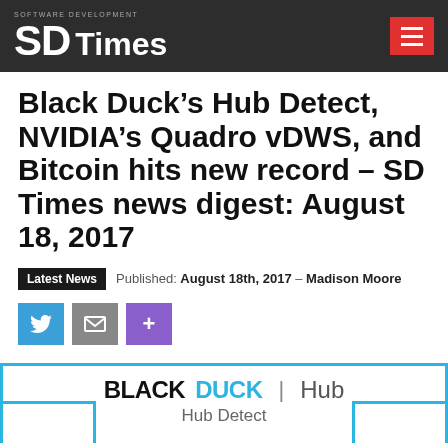SD Times — Software Development
Black Duck’s Hub Detect, NVIDIA’s Quadro vDWS, and Bitcoin hits new record – SD Times news digest: August 18, 2017
Latest News  Published: August 18th, 2017 - Madison Moore
[Figure (infographic): Social sharing buttons: Twitter (blue), Email (grey), Plus/More (purple)]
[Figure (logo): Black Duck Hub | Hub Detect logo with cyan border frame]